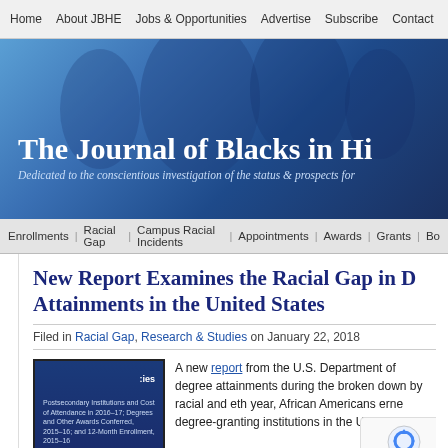Home | About JBHE | Jobs & Opportunities | Advertise | Subscribe | Contact
[Figure (illustration): Blue gradient hero banner with silhouetted figures in background. Text reads: 'The Journal of Blacks in Hi' and italic subtitle 'Dedicated to the conscientious investigation of the status & prospects for']
Enrollments | Racial Gap | Campus Racial Incidents | Appointments | Awards | Grants | Bo
New Report Examines the Racial Gap in D Attainments in the United States
Filed in Racial Gap, Research & Studies on January 22, 2018
[Figure (photo): Book cover with dark blue background. IES logo top right. Title: 'Postsecondary Institutions and Cost of Attendance in 2016-17; Degrees and Other Awards Conferred, 2015-16; and 12-Month Enrollment, 2015-16'. Subtitle: 'First Look (Provisional Data)']
A new report from the U.S. Department of degree attainments during the broken down by racial and eth year, African Americans earn degree-granting institutions in the United